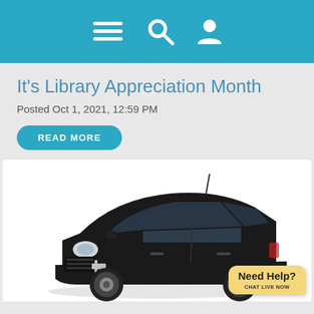Navigation header with menu, search, and user icons
It's Library Appreciation Month
Posted Oct 1, 2021, 12:59 PM
READ MORE
[Figure (photo): Black Chevrolet Trax SUV shown from a front 3/4 angle on a white background. A 'Need Help? CHAT LIVE NOW' yellow speech bubble overlay appears in the bottom right corner.]